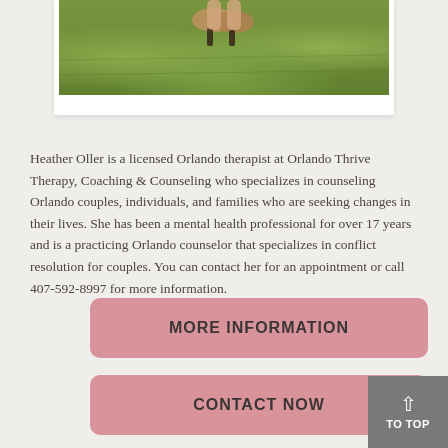[Figure (photo): Cropped photo showing person's feet/lower legs standing on green grass, framed in white]
Heather Oller is a licensed Orlando therapist at Orlando Thrive Therapy, Coaching & Counseling who specializes in counseling Orlando couples, individuals, and families who are seeking changes in their lives. She has been a mental health professional for over 17 years and is a practicing Orlando counselor that specializes in conflict resolution for couples. You can contact her for an appointment or call 407-592-8997 for more information.
MORE INFORMATION
CONTACT NOW
TO TOP